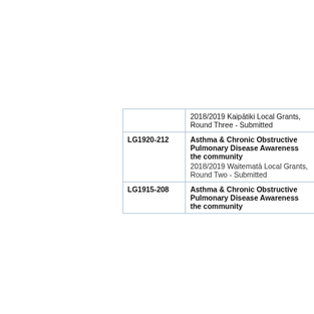| ID | Details |
| --- | --- |
|  | 2018/2019 Kaipātiki Local Grants, Round Three -  Submitted |
| LG1920-212 | Asthma & Chronic Obstructive Pulmonary Disease Awareness the community
2018/2019 Waitematā Local Grants, Round Two -  Submitted |
| LG1915-208 | Asthma & Chronic Obstructive Pulmonary Disease Awareness the community |